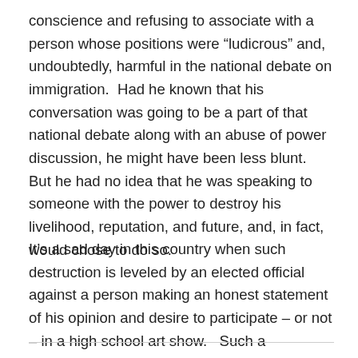conscience and refusing to associate with a person whose positions were “ludicrous” and, undoubtedly, harmful in the national debate on immigration.  Had he known that his conversation was going to be a part of that national debate along with an abuse of power discussion, he might have been less blunt.  But he had no idea that he was speaking to someone with the power to destroy his livelihood, reputation, and future, and, in fact, would chose to do so.
It’s a sad day in this country when such destruction is leveled by an elected official against a person making an honest statement of his opinion and desire to participate – or not – in a high school art show.   Such a representative of the people brings no honor to his office or the voters who elected him.